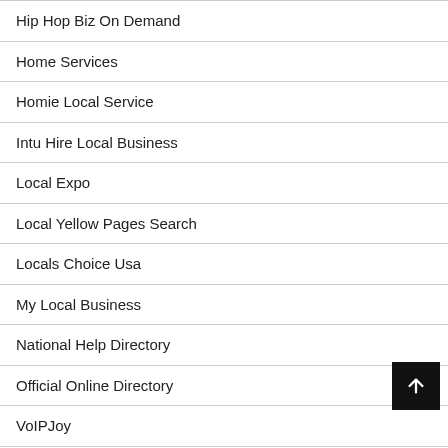Hip Hop Biz On Demand
Home Services
Homie Local Service
Intu Hire Local Business
Local Expo
Local Yellow Pages Search
Locals Choice Usa
My Local Business
National Help Directory
Official Online Directory
VoIPJoy